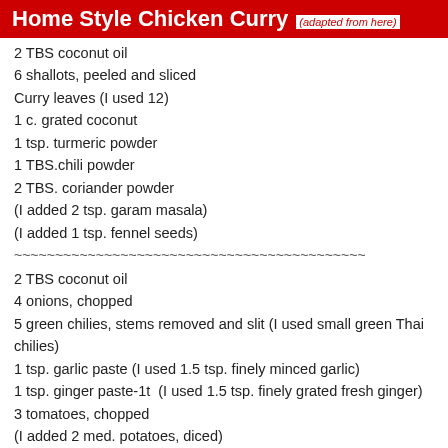Home Style Chicken Curry (adapted from here)
2 TBS coconut oil
6 shallots, peeled and sliced
Curry leaves (I used 12)
1 c. grated coconut
1 tsp. turmeric powder
1 TBS.chili powder
2 TBS. coriander powder
(I added 2 tsp. garam masala)
(I added 1 tsp. fennel seeds)
~~~~~~~~~~~~~~~~~~~~~~~~~~~~~~~~~~~~~~~~~~~
2 TBS coconut oil
4 onions, chopped
5 green chilies, stems removed and slit (I used small green Thai chilies)
1 tsp. garlic paste (I used 1.5 tsp. finely minced garlic)
1 tsp. ginger paste-1t  (I used 1.5 tsp. finely grated fresh ginger)
3 tomatoes, chopped
(I added 2 med. potatoes, diced)
2.5 lbs chicken (I used boneless, skinless breasts)
Salt to taste